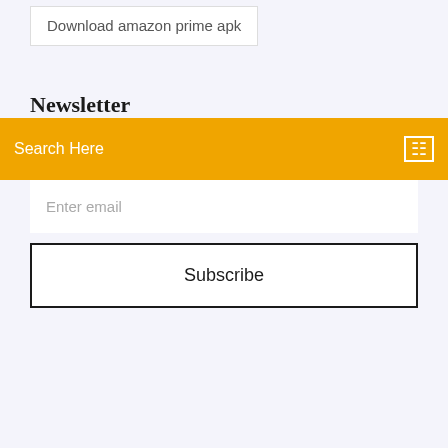Download amazon prime apk
Newsletter
Search Here
Enter email
Subscribe